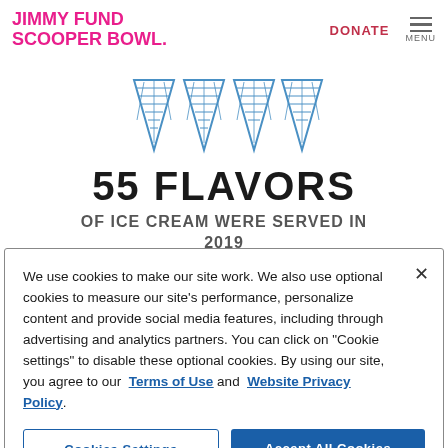JIMMY FUND SCOOPER BOWL.
[Figure (illustration): Four blue ice cream cone outlines arranged in a row]
55 FLAVORS
OF ICE CREAM WERE SERVED IN 2019
[Figure (illustration): Blue ice cream bowl icon]
We use cookies to make our site work. We also use optional cookies to measure our site's performance, personalize content and provide social media features, including through advertising and analytics partners. You can click on "Cookie settings" to disable these optional cookies. By using our site, you agree to our Terms of Use and Website Privacy Policy.
Cookies Settings
Accept All Cookies